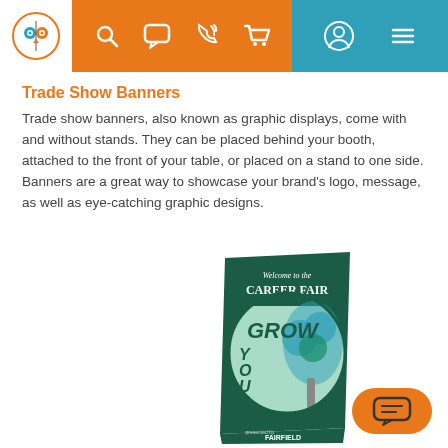Navigation header with logo and icons
Trade Show Banners
Trade show banners, also known as graphic displays, come with and without stands. They can be placed behind your booth, attached to the front of your table, or placed on a stand to one side. Banners are a great way to showcase your brand's logo, message, as well as eye-catching graphic designs.
[Figure (photo): A roll-up trade show banner displaying 'Welcome to the Career Fair' with 'GROW YOUR FUTURE' text and a tree graphic, with 'Fairfield' branding at bottom]